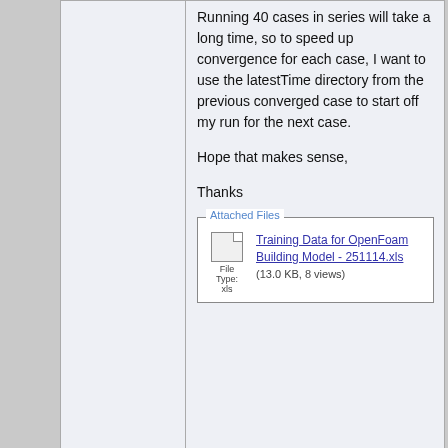Running 40 cases in series will take a long time, so to speed up convergence for each case, I want to use the latestTime directory from the previous converged case to start off my run for the next case.
Hope that makes sense,
Thanks
[Figure (other): Attached Files box with file icon and link: Training Data for OpenFoam Building Model - 251114.xls (13.0 KB, 8 views)]
[Figure (other): Offline status indicator (circle), and Reply with Quote button]
December 3, 2014, 10:22
gschaider
Assistant
Quote:
Originally Posted by e_shorthouse